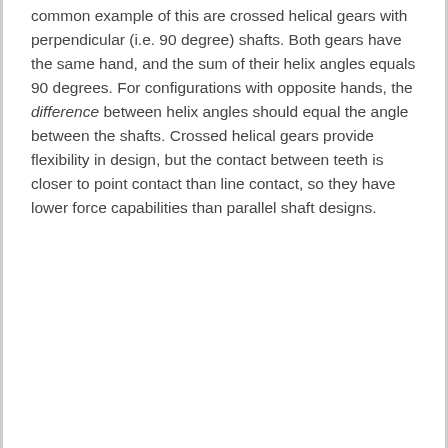common example of this are crossed helical gears with perpendicular (i.e. 90 degree) shafts. Both gears have the same hand, and the sum of their helix angles equals 90 degrees. For configurations with opposite hands, the difference between helix angles should equal the angle between the shafts. Crossed helical gears provide flexibility in design, but the contact between teeth is closer to point contact than line contact, so they have lower force capabilities than parallel shaft designs.